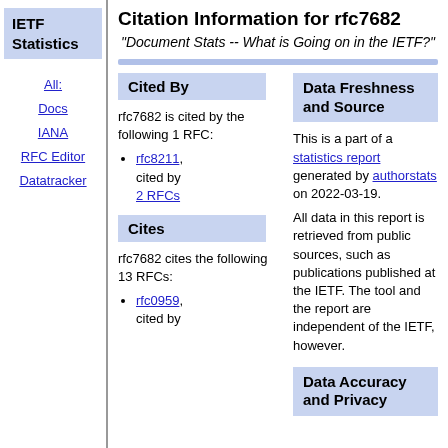IETF Statistics
All:
Docs
IANA
RFC Editor
Datatracker
Citation Information for rfc7682
"Document Stats -- What is Going on in the IETF?"
Cited By
Data Freshness and Source
rfc7682 is cited by the following 1 RFC:
rfc8211, cited by 2 RFCs
This is a part of a statistics report generated by authorstats on 2022-03-19.
All data in this report is retrieved from public sources, such as publications published at the IETF. The tool and the report are independent of the IETF, however.
Cites
Data Accuracy and Privacy
rfc7682 cites the following 13 RFCs:
rfc0959, cited by